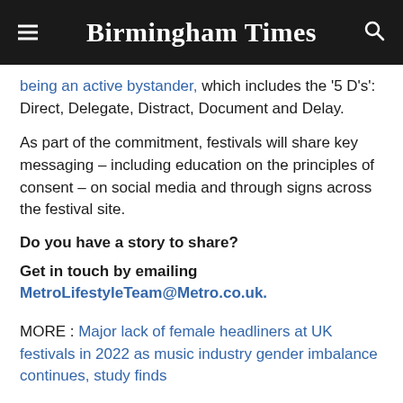Birmingham Times
being an active bystander, which includes the '5 D's': Direct, Delegate, Distract, Document and Delay.
As part of the commitment, festivals will share key messaging – including education on the principles of consent – on social media and through signs across the festival site.
Do you have a story to share?
Get in touch by emailing MetroLifestyleTeam@Metro.co.uk.
MORE : Major lack of female headliners at UK festivals in 2022 as music industry gender imbalance continues, study finds